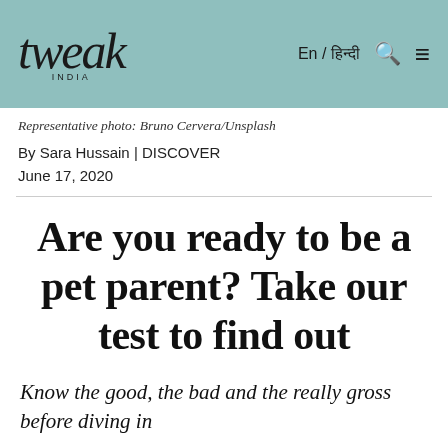tweak india | En / हिन्दी
Representative photo: Bruno Cervera/Unsplash
By Sara Hussain | DISCOVER
June 17, 2020
Are you ready to be a pet parent? Take our test to find out
Know the good, the bad and the really gross before diving in